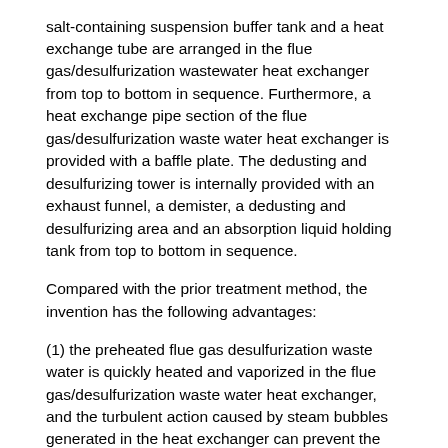salt-containing suspension buffer tank and a heat exchange tube are arranged in the flue gas/desulfurization wastewater heat exchanger from top to bottom in sequence. Furthermore, a heat exchange pipe section of the flue gas/desulfurization waste water heat exchanger is provided with a baffle plate. The dedusting and desulfurizing tower is internally provided with an exhaust funnel, a demister, a dedusting and desulfurizing area and an absorption liquid holding tank from top to bottom in sequence.
Compared with the prior treatment method, the invention has the following advantages:
(1) the preheated flue gas desulfurization waste water is quickly heated and vaporized in the flue gas/desulfurization waste water heat exchanger, and the turbulent action caused by steam bubbles generated in the heat exchanger can prevent the generated salt crystal grains from depositing and coalescing, thereby avoiding the blockage of the heat exchanger. When the salt-containing suspension is discharged into the buffer groove of the salt-containing suspension from the tube side of the heat exchanger, the salt-containing suspension is in...